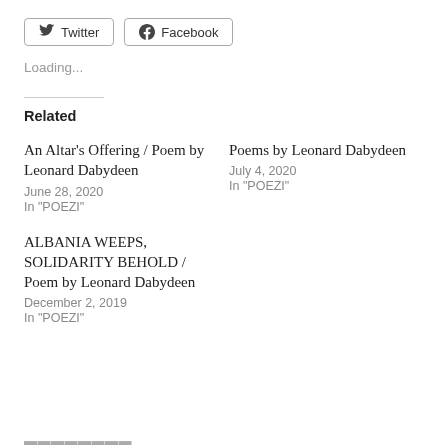[Figure (other): Twitter and Facebook share buttons]
Loading...
Related
An Altar's Offering / Poem by Leonard Dabydeen
June 28, 2020
In "POEZI"
Poems by Leonard Dabydeen
July 4, 2020
In "POEZI"
ALBANIA WEEPS, SOLIDARITY BEHOLD / Poem by Leonard Dabydeen
December 2, 2019
In "POEZI"